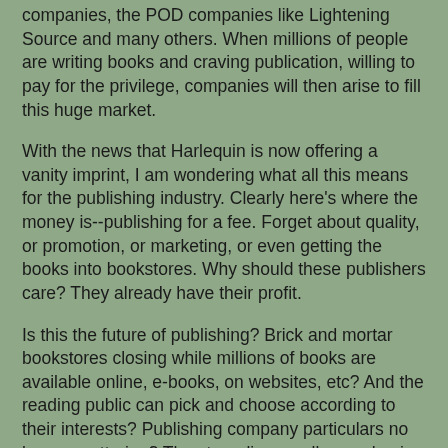companies, the POD companies like Lightening Source and many others. When millions of people are writing books and craving publication, willing to pay for the privilege, companies will then arise to fill this huge market.
With the news that Harlequin is now offering a vanity imprint, I am wondering what all this means for the publishing industry. Clearly here's where the money is--publishing for a fee. Forget about quality, or promotion, or marketing, or even getting the books into bookstores. Why should these publishers care? They already have their profit.
Is this the future of publishing? Brick and mortar bookstores closing while millions of books are available online, e-books, on websites, etc? And the reading public can pick and choose according to their interests? Publishing company particulars no longer mattering? The struggling small press having to switch over to charging author fees in order to survive?
I am shuddering here. I don't like this picture. And I shall do my part to help the small press in any way I can, such as posting a review here on Zoehamlet's release. No Going...